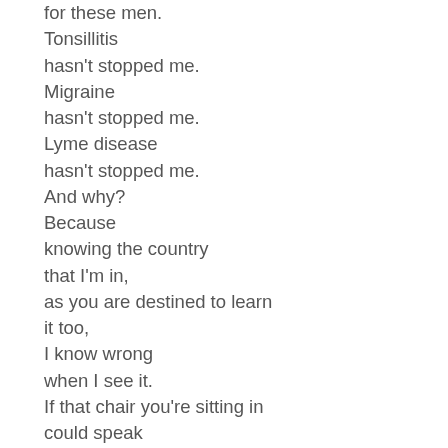for these men.
Tonsillitis
hasn't stopped me.
Migraine
hasn't stopped me.
Lyme disease
hasn't stopped me.
And why?
Because
knowing the country
that I'm in,
as you are destined to learn
it too,
I know wrong
when I see it.
If that chair you're sitting in
could speak
you would have it moved
to another room.
You would burn it.

So, amigos,
pack your things.